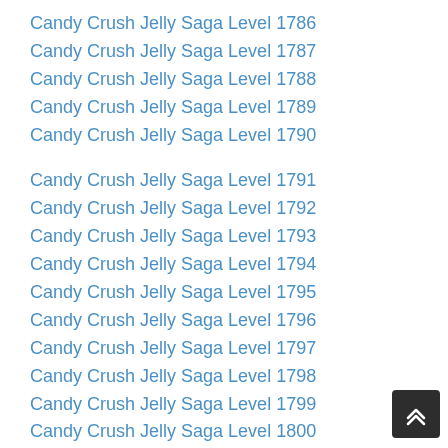Candy Crush Jelly Saga Level 1786
Candy Crush Jelly Saga Level 1787
Candy Crush Jelly Saga Level 1788
Candy Crush Jelly Saga Level 1789
Candy Crush Jelly Saga Level 1790
Candy Crush Jelly Saga Level 1791
Candy Crush Jelly Saga Level 1792
Candy Crush Jelly Saga Level 1793
Candy Crush Jelly Saga Level 1794
Candy Crush Jelly Saga Level 1795
Candy Crush Jelly Saga Level 1796
Candy Crush Jelly Saga Level 1797
Candy Crush Jelly Saga Level 1798
Candy Crush Jelly Saga Level 1799
Candy Crush Jelly Saga Level 1800
Candy Crush Jelly Saga Level 1801
Candy Crush Jelly Saga Level 1802